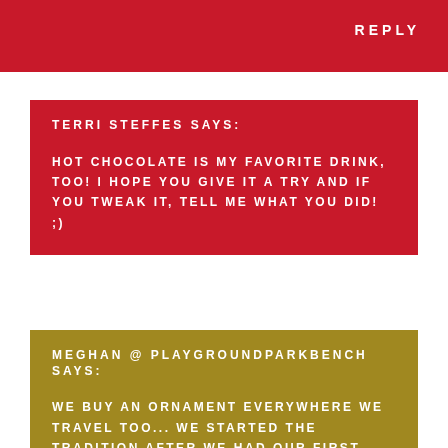REPLY
TERRI STEFFES SAYS:
HOT CHOCOLATE IS MY FAVORITE DRINK, TOO! I HOPE YOU GIVE IT A TRY AND IF YOU TWEAK IT, TELL ME WHAT YOU DID! ;)
MEGHAN @ PLAYGROUNDPARKBENCH SAYS:
WE BUY AN ORNAMENT EVERYWHERE WE TRAVEL TOO... WE STARTED THE TRADITION AFTER WE HAD OUR FIRST TREE, AND BOTH REALIZED WE